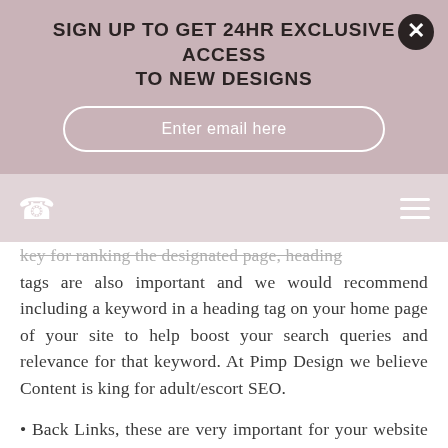SIGN UP TO GET 24HR EXCLUSIVE ACCESS TO NEW DESIGNS
Enter email here
key for ranking the designated page, heading tags are also important and we would recommend including a keyword in a heading tag on your home page of your site to help boost your search queries and relevance for that keyword. At Pimp Design we believe Content is king for adult/escort SEO.
• Back Links, these are very important for your website as search engines such as Google see this as a massive ranking factor but you must be careful in terms of what links you build as you could end up in the territory of link